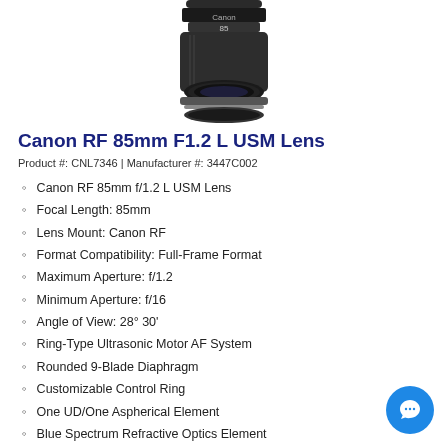[Figure (photo): Canon RF 85mm F1.2 L USM Lens product photo showing black camera lens from front/top angle]
Canon RF 85mm F1.2 L USM Lens
Product #: CNL7346 | Manufacturer #: 3447C002
Canon RF 85mm f/1.2 L USM Lens
Focal Length: 85mm
Lens Mount: Canon RF
Format Compatibility: Full-Frame Format
Maximum Aperture: f/1.2
Minimum Aperture: f/16
Angle of View: 28° 30'
Ring-Type Ultrasonic Motor AF System
Rounded 9-Blade Diaphragm
Customizable Control Ring
One UD/One Aspherical Element
Blue Spectrum Refractive Optics Element
Color: Black
Our Price: $2,699.00